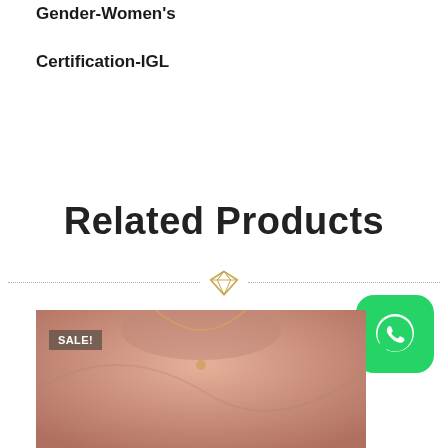Gender-Women's
Certification-IGL
Related Products
[Figure (illustration): Decorative divider with a gold diamond gem icon flanked by dotted lines on each side]
[Figure (photo): WhatsApp contact button with green rounded square background and white phone/chat icon]
[Figure (photo): Product image showing a woman wearing a necklace with a SALE! badge overlay in the top-left corner]